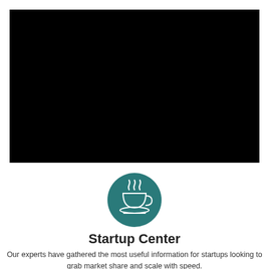[Figure (photo): Black rectangle representing a video or image placeholder]
[Figure (illustration): Teal circular icon with a white coffee cup with steam rising from it]
Startup Center
Our experts have gathered the most useful information for startups looking to grab market share and scale with speed.